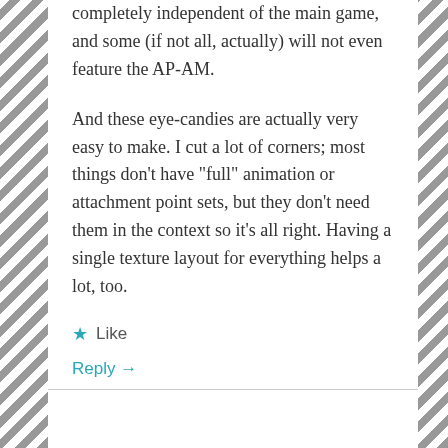completely independent of the main game, and some (if not all, actually) will not even feature the AP-AM.
And these eye-candies are actually very easy to make. I cut a lot of corners; most things don’t have “full” animation or attachment point sets, but they don’t need them in the context so it’s all right. Having a single texture layout for everything helps a lot, too.
★ Like
Reply →